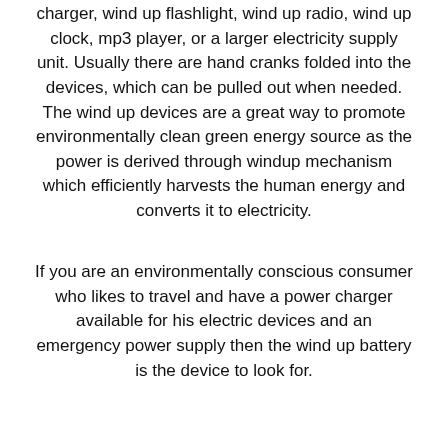charger, wind up flashlight, wind up radio, wind up clock, mp3 player, or a larger electricity supply unit. Usually there are hand cranks folded into the devices, which can be pulled out when needed. The wind up devices are a great way to promote environmentally clean green energy source as the power is derived through windup mechanism which efficiently harvests the human energy and converts it to electricity.
If you are an environmentally conscious consumer who likes to travel and have a power charger available for his electric devices and an emergency power supply then the wind up battery is the device to look for.